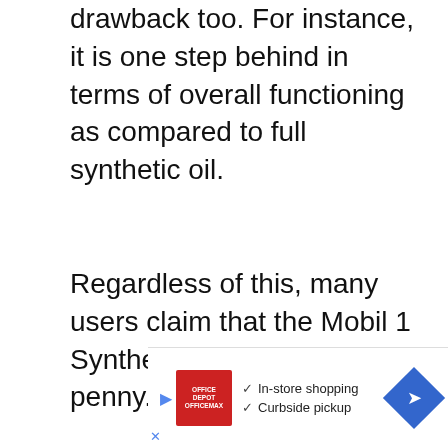drawback too. For instance, it is one step behind in terms of overall functioning as compared to full synthetic oil.
Regardless of this, many users claim that the Mobil 1 Synthetic Oil is worth every penny.
[Figure (other): Blue rounded button with text 'Available on Amazon']
[Figure (other): Advertisement banner at bottom of page showing Office Depot/OfficeMax logo with checkmarks for 'In-store shopping' and 'Curbside pickup', a play button icon, navigation arrow icon, and close X button]